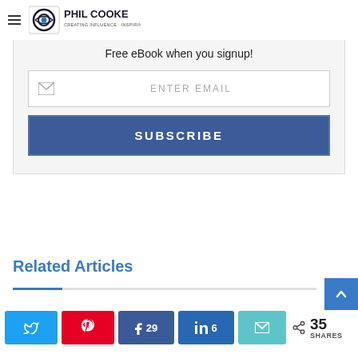Phil Cooke - Creating Influence · Inspiring Change
Subscribe to Phil's mailing list to get weekly updates
Free eBook when you signup!
ENTER EMAIL
SUBSCRIBE
Related Articles
35 SHARES
29 (Facebook shares), 6 (LinkedIn shares)